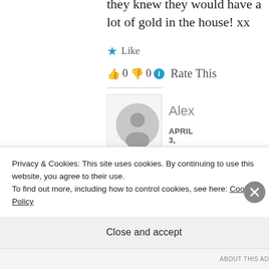they knew they would have a lot of gold in the house! xx
★ Like
👍 0 👎 0 ℹ Rate This
Alex
APRIL 3, 2015 AT 13:52
Privacy & Cookies: This site uses cookies. By continuing to use this website, you agree to their use.
To find out more, including how to control cookies, see here: Cookie Policy
Close and accept